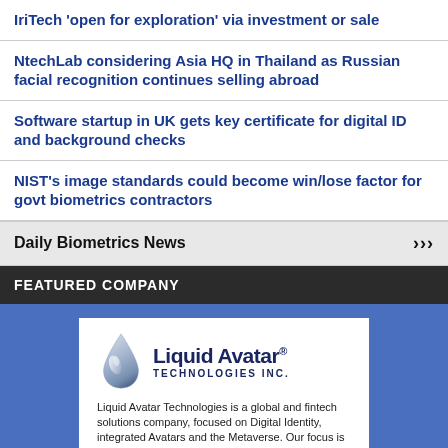IriTech 'open for exploration' via investment or sale
NtechLab considering Asia HQ in Thailand as Russian facial recognition continues selling abroad
Software startup in UK gets key certificate for digital ID and background checks
NIST's image standards could become win/lose factor for govt biometrics contractors
Daily Biometrics News
FEATURED COMPANY
[Figure (logo): Liquid Avatar Technologies Inc. logo with a water droplet icon]
Liquid Avatar Technologies is a global and fintech solutions company, focused on Digital Identity, integrated Avatars and the Metaverse. Our focus is on powering an ecosystem of trust for the evolving global